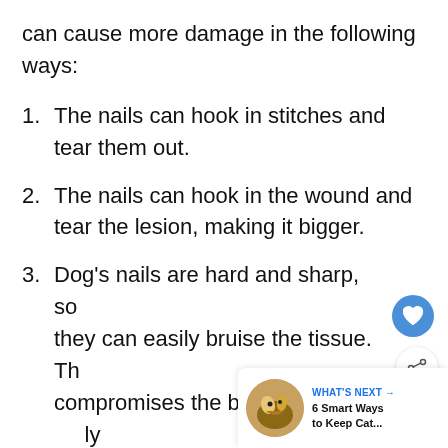can cause more damage in the following ways:
The nails can hook in stitches and tear them out.
The nails can hook in the wound and tear the lesion, making it bigger.
Dog's nails are hard and sharp, so they can easily bruise the tissue. This compromises the blood supply to the wound, which slows the healing